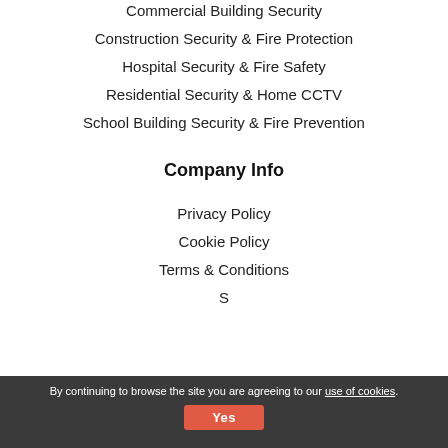Commercial Building Security
Construction Security & Fire Protection
Hospital Security & Fire Safety
Residential Security & Home CCTV
School Building Security & Fire Prevention
Company Info
Privacy Policy
Cookie Policy
Terms & Conditions
By continuing to browse the site you are agreeing to our use of cookies. Yes